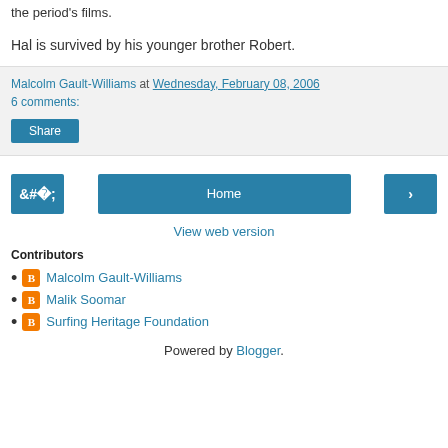the period's films.
Hal is survived by his younger brother Robert.
Malcolm Gault-Williams at Wednesday, February 08, 2006
6 comments:
Share
Home
View web version
Contributors
Malcolm Gault-Williams
Malik Soomar
Surfing Heritage Foundation
Powered by Blogger.